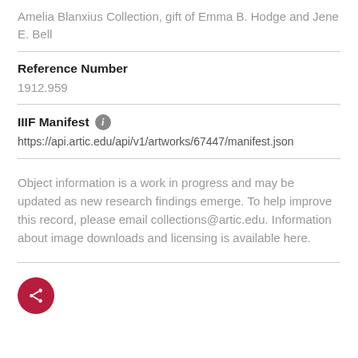Amelia Blanxius Collection, gift of Emma B. Hodge and Jene E. Bell
Reference Number
1912.959
IIIF Manifest
https://api.artic.edu/api/v1/artworks/67447/manifest.json
Object information is a work in progress and may be updated as new research findings emerge. To help improve this record, please email collections@artic.edu. Information about image downloads and licensing is available here.
[Figure (other): Red circular share button with white share icon]